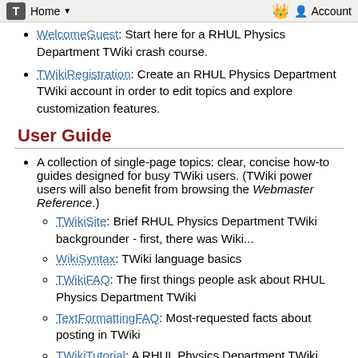T | Home ▼ | Account
WelcomeGuest: Start here for a RHUL Physics Department TWiki crash course.
TWikiRegistration: Create an RHUL Physics Department TWiki account in order to edit topics and explore customization features.
User Guide
A collection of single-page topics: clear, concise how-to guides designed for busy TWiki users. (TWiki power users will also benefit from browsing the Webmaster Reference.)
TWikiSite: Brief RHUL Physics Department TWiki backgrounder - first, there was Wiki...
WikiSyntax: TWiki language basics
TWikiFAQ: The first things people ask about RHUL Physics Department TWiki
TextFormattingFAQ: Most-requested facts about posting in TWiki
TWikiTutorial: A RHUL Physics Department TWiki